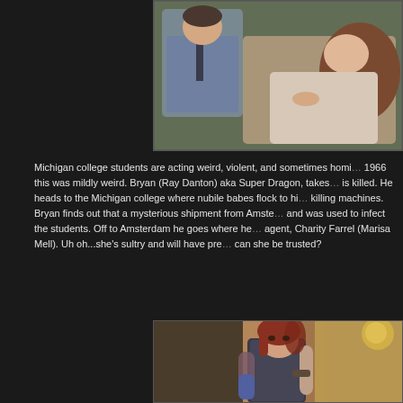[Figure (photo): A man and woman in an intimate pose, lying down, reminiscent of a 1960s film still]
Michigan college students are acting weird, violent, and sometimes homi... 1966 this was mildly weird. Bryan (Ray Danton) aka Super Dragon, takes... is killed. He heads to the Michigan college where nubile babes flock to hi... killing machines. Bryan finds out that a mysterious shipment from Amste... and was used to infect the students. Off to Amsterdam he goes where he... agent, Charity Farrel (Marisa Mell). Uh oh...she's sultry and will have pre... can she be trusted?
[Figure (photo): A woman with red hair in a glamorous 1960s outfit holding something, standing in an ornate interior setting]